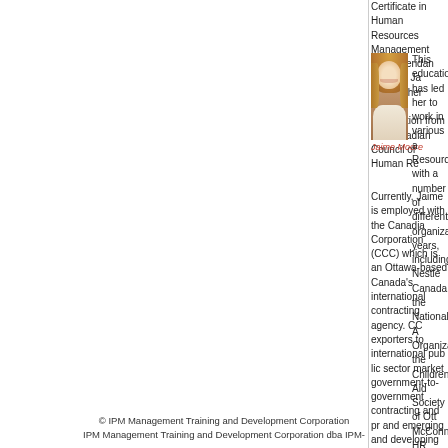Certificate in Human Resources Management from Sheridan College. Ja granted her CHRP designation from the Canadian Council of Human Re
[Figure (photo): Portrait photo of Jaime Moore, a young woman with blonde hair, smiling]
Jaime Moore
This education has led her to work in various a Resources with a number of different organiza years, including Nestlé Canada, the National A Organization, the Children's Aid Society of Ott McConnell HR Consulting.
Currently, Jaime is employed with the Canadia Corporation (CCC) which is an Ottawa-based Canada's international contracting agency. CC exporters to international public sector market government-to-government contracting and pr and emerging and developing country markets signed over $1.5 billion worth of contracts in 2
Jaime is a Human Resources Advisor with CC role to provide HR guidance to CCC management and employees. Her r staffing, health and safety, classification, and policy development.
Jaime was first introduced to CCC through a consulting project where sh the Corporation in recruitment and selection as well as work description an opening in the HR team, and Jaime was offered a position as a perm organization.
In the future, Jaime plans to expand her skills and experiences in the are She hopes to have the opportunity to further her education through unive in order to remain abreast of the most recent trends and changes in the v management. Jaime also intends to work toward her Canadian Managem designation and is currently an active member of the Eastern Ontario Ch associations.
When Jaime is not busy working or studying, she enjoys hiking in the Ga art exhibit or attending the theatre. Jaime also loves to travel, and has vi Spain, as well as Japan, where she spent a year teaching English and ex
© IPM Management Training and Development Corporation
IPM Management Training and Development Corporation dba IPM-